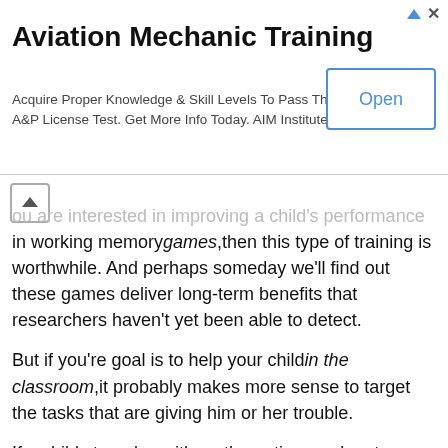[Figure (other): Advertisement banner for Aviation Mechanic Training by AIM Institute with an Open button]
ou are interested in improving a child's performance in working memorygames,then this type of training is worthwhile. And perhaps someday we'll find out these games deliver long-term benefits that researchers haven't yet been able to detect.
But if you're goal is to help your childin the classroom,it probably makes more sense to target the tasks that are giving him or her trouble.
If a child struggles with mathematics, seek out special training in the relevant mathematical skills -- like counting, number sense, or basic arithmetic calculations (Kyttäläet al 2015).